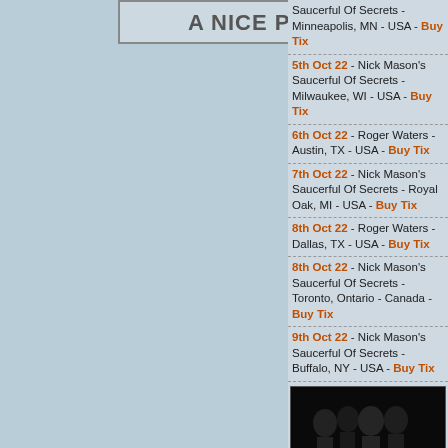A Nice Pair!
Saucerful Of Secrets - Minneapolis, MN - USA - Buy Tix
5th Oct 22 - Nick Mason's Saucerful Of Secrets - Milwaukee, WI - USA - Buy Tix
6th Oct 22 - Roger Waters - Austin, TX - USA - Buy Tix
7th Oct 22 - Nick Mason's Saucerful Of Secrets - Royal Oak, MI - USA - Buy Tix
8th Oct 22 - Roger Waters - Dallas, TX - USA - Buy Tix
8th Oct 22 - Nick Mason's Saucerful Of Secrets - Toronto, Ontario - Canada - Buy Tix
9th Oct 22 - Nick Mason's Saucerful Of Secrets - Buffalo, NY - USA - Buy Tix
[Figure (photo): Pink Floyd band photo with logo - group of musicians in dark setting with PINK FLOYD text]
[Figure (other): donate to brain damage - PayPal donation button]